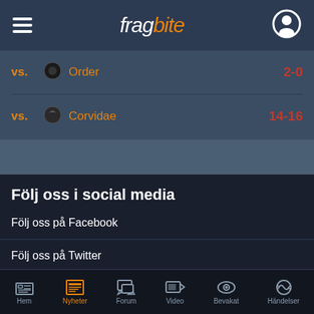fragbite
vs. Order 2-0
vs. Corvidae 14-16
Följ oss i social media
Följ oss på Facebook
Följ oss på Twitter
Följ oss på Instagram
Följ oss på Twitch
Hem | Nyheter | Forum | Video | Bevakat | Händelser